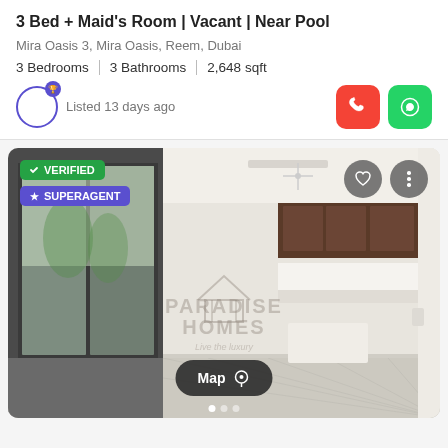3 Bed + Maid's Room | Vacant | Near Pool
Mira Oasis 3, Mira Oasis, Reem, Dubai
3 Bedrooms  |  3 Bathrooms  |  2,648 sqft
Listed 13 days ago
[Figure (photo): Interior photo of a vacant villa/townhouse showing open-plan living area with large sliding glass doors, tiled floor, kitchen with dark wood cabinets in background, white walls. Watermark: PARADISE HOMES Live the luxury. Overlay badges: VERIFIED (green), SUPERAGENT (purple). Map button at bottom center.]